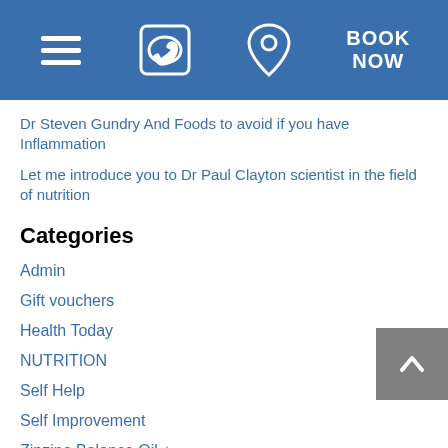[Figure (screenshot): Blue navigation header bar with hamburger menu icon, telephone icon, location pin icon, and BOOK NOW text button]
Dr Steven Gundry And Foods to avoid if you have Inflammation
Let me introduce you to Dr Paul Clayton scientist in the field of nutrition
Categories
Admin
Gift vouchers
Health Today
NUTRITION
Self Help
Self Improvement
Zinzino Balance Oil +
Zinzino Wellness Products